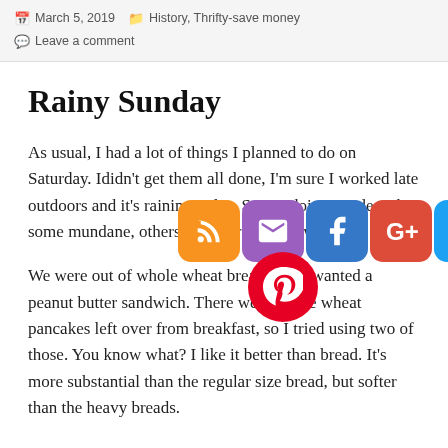March 5, 2019  History, Thrifty-save money  Leave a comment
Rainy Sunday
As usual, I had a lot of things I planned to do on Saturday. Ididn't get them all done, I'm sure I worked late outdoors and it's raining today. So I'm doing inside tasks, some mundane, others fun. Here are a few:
[Figure (illustration): Social media sharing icons: RSS (orange), Email (purple), Facebook (blue), Google+ (red), Twitter (light blue), Pinterest (red circle)]
We were out of whole wheat bread, and I wanted a peanut butter sandwich. There were whole wheat pancakes left over from breakfast, so I tried using two of those. You know what? I like it better than bread. It's more substantial than the regular size bread, but softer than the heavy breads.